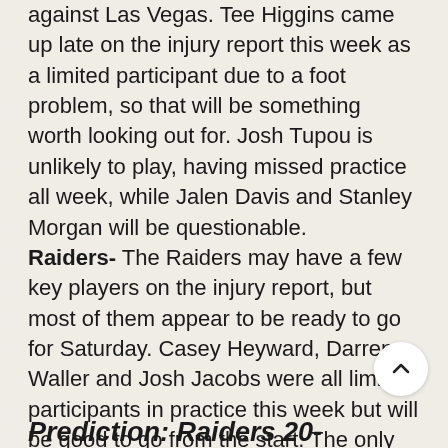against Las Vegas. Tee Higgins came up late on the injury report this week as a limited participant due to a foot problem, so that will be something worth looking out for. Josh Tupou is unlikely to play, having missed practice all week, while Jalen Davis and Stanley Morgan will be questionable. Raiders- The Raiders may have a few key players on the injury report, but most of them appear to be ready to go for Saturday. Casey Heyward, Darren Waller and Josh Jacobs were all limited participants in practice this week but will be good to go from the start. The only player questionable will be Johnathan Hankins, who has struggled with a back and knee i
Prediction: Raiders 20-